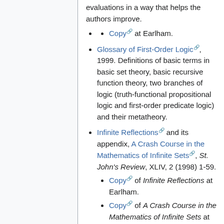evaluations in a way that helps the authors improve.
Copy at Earlham.
Glossary of First-Order Logic, 1999. Definitions of basic terms in basic set theory, basic recursive function theory, two branches of logic (truth-functional propositional logic and first-order predicate logic) and their metatheory.
Infinite Reflections and its appendix, A Crash Course in the Mathematics of Infinite Sets, St. John's Review, XLIV, 2 (1998) 1-59.
Copy of Infinite Reflections at Earlham.
Copy of A Crash Course in the Mathematics of Infinite Sets at Earlham.
Translation Tips for the Language of